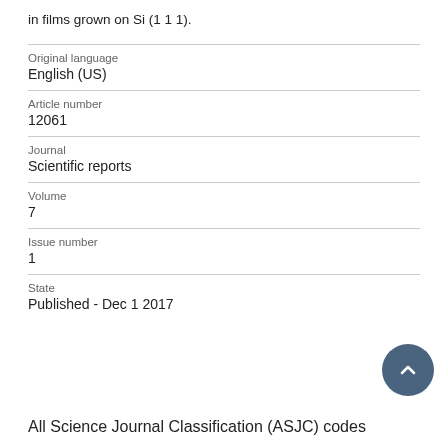in films grown on Si (1 1 1).
| Original language | English (US) |
| Article number | 12061 |
| Journal | Scientific reports |
| Volume | 7 |
| Issue number | 1 |
| State | Published - Dec 1 2017 |
All Science Journal Classification (ASJC) codes